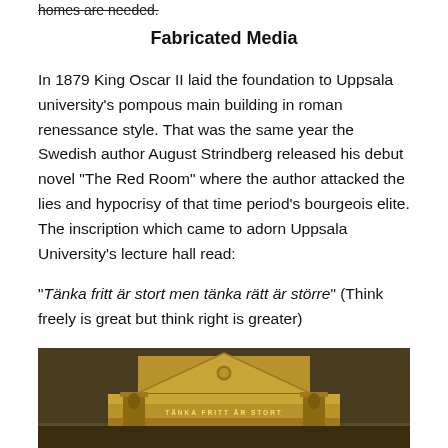homes are needed.
Fabricated Media
In 1879 King Oscar II laid the foundation to Uppsala university's pompous main building in roman renessance style. That was the same year the Swedish author August Strindberg released his debut novel "The Red Room" where the author attacked the lies and hypocrisy of that time period's bourgeois elite. The inscription which came to adorn Uppsala University's lecture hall read:
"Tänka fritt är stort men tänka rätt är större" (Think freely is great but think right is greater)
[Figure (photo): Photograph of the ornate pediment of Uppsala University's main building lecture hall, showing the inscription 'TÄNKA FRITT ÄR STORT' in golden lettering on a classical architectural facade with columns and decorative carvings.]